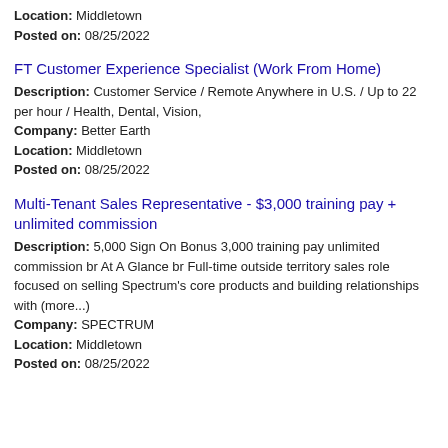Location: Middletown
Posted on: 08/25/2022
FT Customer Experience Specialist (Work From Home)
Description: Customer Service / Remote Anywhere in U.S. / Up to 22 per hour / Health, Dental, Vision,
Company: Better Earth
Location: Middletown
Posted on: 08/25/2022
Multi-Tenant Sales Representative - $3,000 training pay + unlimited commission
Description: 5,000 Sign On Bonus 3,000 training pay unlimited commission br At A Glance br Full-time outside territory sales role focused on selling Spectrum's core products and building relationships with (more...)
Company: SPECTRUM
Location: Middletown
Posted on: 08/25/2022